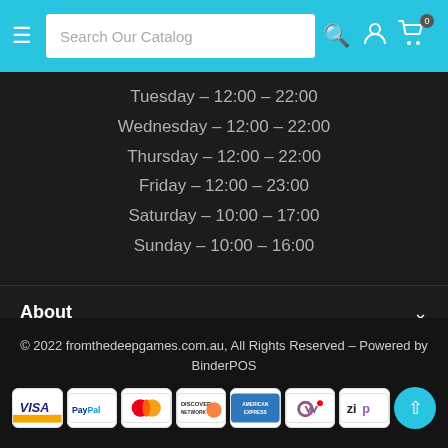[Figure (screenshot): Top navigation bar with hamburger menu, search box 'Search Our Catalog', search icon, user icon, and cart icon with badge '0']
Tuesday – 12:00 – 22:00
Wednesday – 12:00 – 22:00
Thursday – 12:00 – 22:00
Friday – 12:00 – 23:00
Saturday – 10:00 – 17:00
Sunday – 10:00 – 16:00
About
Support
© 2022 fromthedeepgames.com.au, All Rights Reserved – Powered by BinderPOS
[Figure (logo): Payment method icons: VISA, PayPal, MasterCard, Discover Network, American Express, Woo, ZIP, and scroll-to-top button]